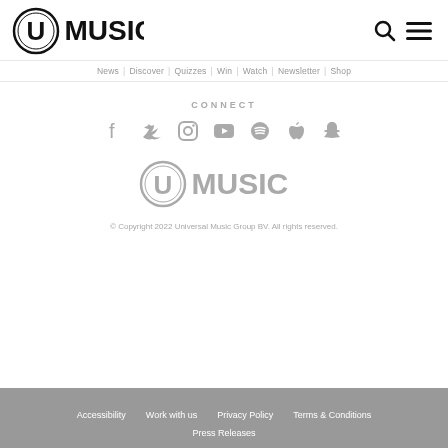[Figure (logo): UMusic logo with circular U icon and bold MUSIC text in black]
News | Discover | Quizzes | Win | Watch | Newsletter | Shop
CONNECT
[Figure (illustration): Social media icons: Facebook, Twitter, Instagram, YouTube, Spotify, Apple, Snapchat — all in grey]
[Figure (logo): UMusic logo in grey (footer version)]
© Copyright 2022 Universal Music Group BV. All rights reserved.
Accessibility  Work with us  Privacy Policy  Terms & Conditions  Press Releases